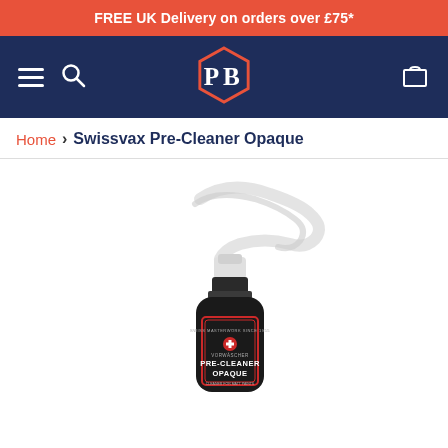FREE UK Delivery on orders over £75*
[Figure (logo): PB logo hexagon with orange outline on dark navy navigation bar, with hamburger menu, search icon, and cart icon]
Home > Swissvax Pre-Cleaner Opaque
[Figure (photo): Swissvax Pre-Cleaner Opaque product in a black spray bottle with red-bordered label showing Swiss cross, PRE-CLEANER OPAQUE text, and white spray trigger top, on white background]